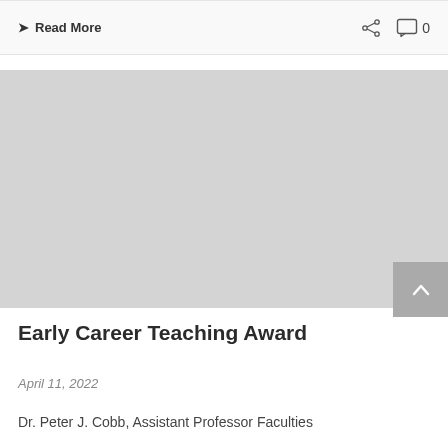> Read More
[Figure (screenshot): Gray placeholder image for article thumbnail]
Early Career Teaching Award
April 11, 2022
Dr. Peter J. Cobb, Assistant Professor Faculties